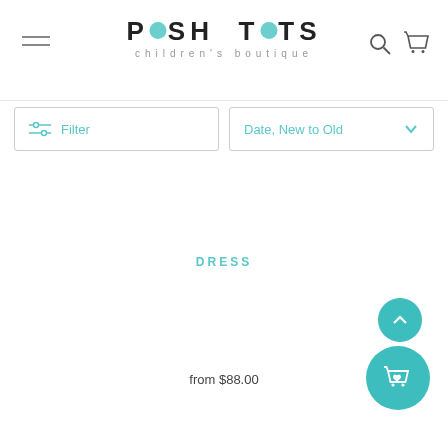POSH TOTS children's boutique
Filter
Date, New to Old
DRESS
from $88.00